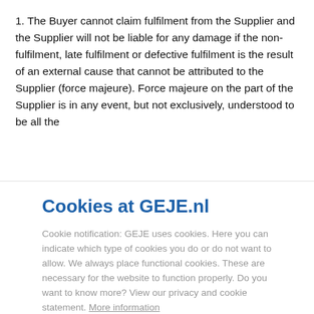1. The Buyer cannot claim fulfilment from the Supplier and the Supplier will not be liable for any damage if the non-fulfilment, late fulfilment or defective fulfilment is the result of an external cause that cannot be attributed to the Supplier (force majeure). Force majeure on the part of the Supplier is in any event, but not exclusively, understood to be all the
Cookies at GEJE.nl
Cookie notification: GEJE uses cookies. Here you can indicate which type of cookies you do or do not want to allow. We always place functional cookies. These are necessary for the website to function properly. Do you want to know more? View our privacy and cookie statement. More information
Cookie settings
Accept everything